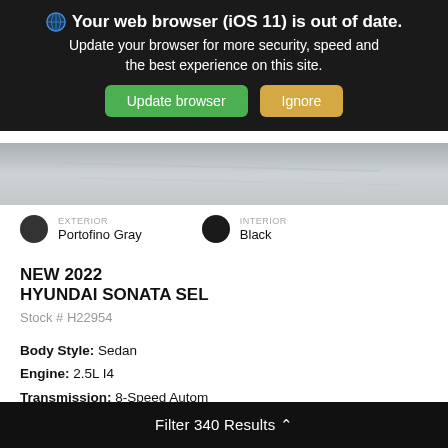Your web browser (iOS 11) is out of date. Update your browser for more security, speed and the best experience on this site.
Update browser
Ignore
[Figure (photo): Gray car roof/hood image strip]
EXTERIOR Portofino Gray
INTERIOR Black
NEW 2022 HYUNDAI SONATA SEL
Stock # H22954
Body Style: Sedan
Engine: 2.5L I4
Transmission: 8-Speed Autom
Drivetrain: FWD
HWY: 37 | CITY: 27
Value Your Trade
Filter 340 Results ^